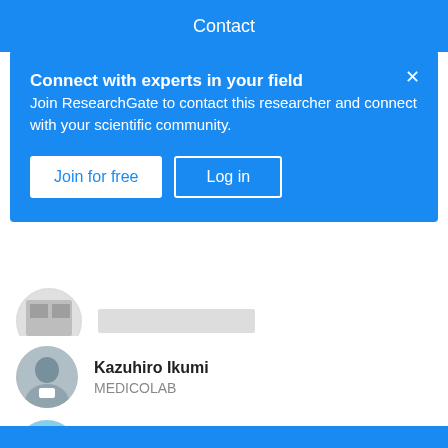Contact
Connect with experts in your field
Join ResearchGate to contact this researcher and connect with your scientific community.
Join for free  Log in
Masahisa Katsuno
Kazuhiro Ikumi
MEDICOLAB
Kunihiko Araki
Nagoya University
View all